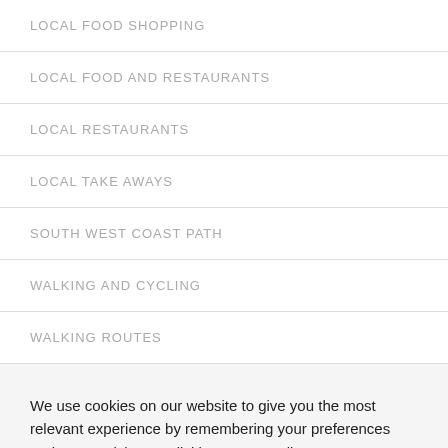LOCAL FOOD SHOPPING
LOCAL FOOD AND RESTAURANTS
LOCAL RESTAURANTS
LOCAL TAKE AWAYS
SOUTH WEST COAST PATH
WALKING AND CYCLING
WALKING ROUTES
We use cookies on our website to give you the most relevant experience by remembering your preferences and repeat visits. By clicking “Accept All”, you consent to the use of ALL the cookies. However, you may visit "Cookie Settings" to provide a controlled consent.
Cookie Settings | Accept All